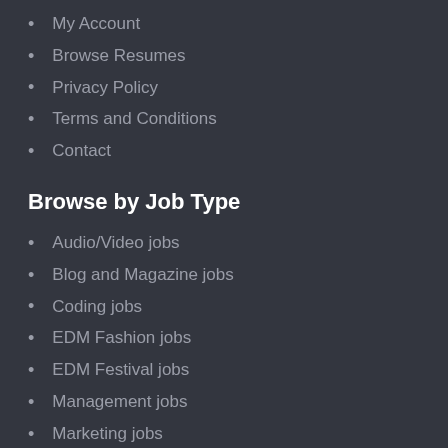My Account
Browse Resumes
Privacy Policy
Terms and Conditions
Contact
Browse by Job Type
Audio/Video jobs
Blog and Magazine jobs
Coding jobs
EDM Fashion jobs
EDM Festival jobs
Management jobs
Marketing jobs
Music Label jobs
Music Production jobs
Music Technology jobs